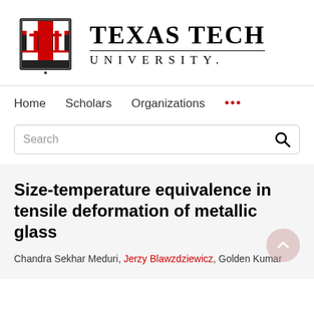[Figure (logo): Texas Tech University logo with double-T emblem in red and black, and university name text]
Home   Scholars   Organizations   ...
Search
Size-temperature equivalence in tensile deformation of metallic glass
Chandra Sekhar Meduri, Jerzy Blawzdziewicz, Golden Kumar